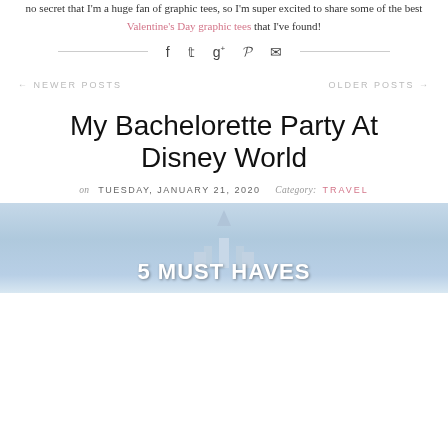no secret that I'm a huge fan of graphic tees, so I'm super excited to share some of the best Valentine's Day graphic tees that I've found!
[Figure (other): Social share icons row with divider lines on each side: Facebook, Twitter, Google+, Pinterest, Email icons]
← NEWER POSTS    OLDER POSTS →
My Bachelorette Party At Disney World
on TUESDAY, JANUARY 21, 2020  Category: TRAVEL
[Figure (photo): Disney World castle photo with overlay text '5 MUST HAVES']